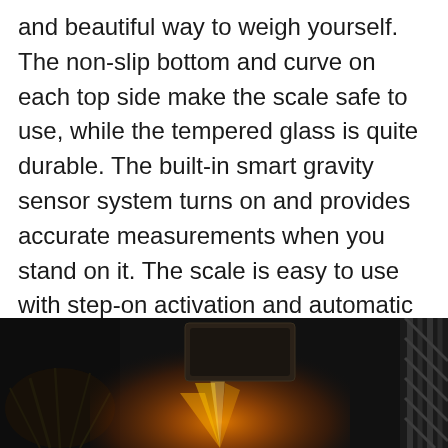and beautiful way to weigh yourself. The non-slip bottom and curve on each top side make the scale safe to use, while the tempered glass is quite durable. The built-in smart gravity sensor system turns on and provides accurate measurements when you stand on it. The scale is easy to use with step-on activation and automatic shutdown after staying idle for 6seconds. It automatically locks the reading when data is stable, making it easier to measure every time accurately.
[Figure (photo): A dark photograph showing what appears to be a scale or device with an orange/amber glowing light beneath it, with some plant-like shadows on the left and a striped pattern on the right edge.]